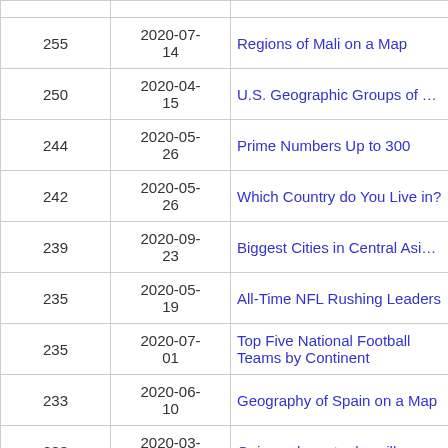|  |  |  |
| --- | --- | --- |
| 255 | 2020-07-14 | Regions of Mali on a Map |
| 250 | 2020-04-15 | U.S. Geographic Groups of Three |
| 244 | 2020-05-26 | Prime Numbers Up to 300 |
| 242 | 2020-05-26 | Which Country do You Live in? |
| 239 | 2020-09-23 | Biggest Cities in Central Asia on a Map |
| 235 | 2020-05-19 | All-Time NFL Rushing Leaders |
| 235 | 2020-07-01 | Top Five National Football Teams by Continent |
| 233 | 2020-06-10 | Geography of Spain on a Map |
| 233 | 2020-03-12 | Quiz sur la carte des villes |
| 232 | 2020-05-20 | Biggest Cities in the United Arab Emirates |
|  | 2019-0... |  |